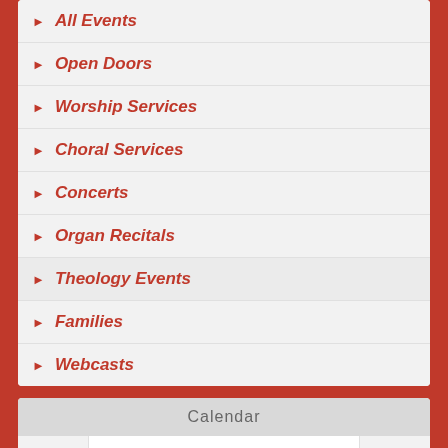All Events
Open Doors
Worship Services
Choral Services
Concerts
Organ Recitals
Theology Events
Families
Webcasts
Calendar
| S | M | T | W | T | F | S |
| --- | --- | --- | --- | --- | --- | --- |
| 26 | 27 | 28 | 29 | 30 | 31 | 1 |